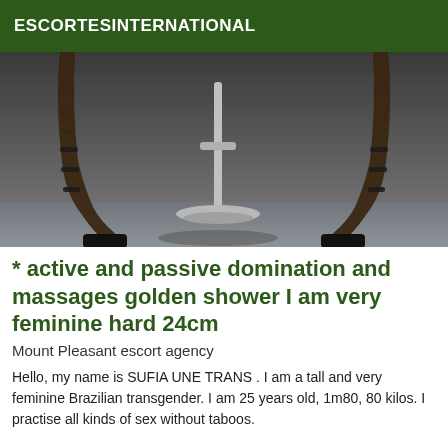ESCORTESINTERNATIONAL
[Figure (photo): Photo showing legs in fishnet stockings and high heels leaning over a bar stool, dark background]
* active and passive domination and massages golden shower I am very feminine hard 24cm
Mount Pleasant escort agency
Hello, my name is SUFIA UNE TRANS . I am a tall and very feminine Brazilian transgender. I am 25 years old, 1m80, 80 kilos. I practise all kinds of sex without taboos.